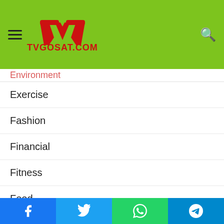TVGOSAT.COM
Environment
Exercise
Fashion
Financial
Fitness
Food
Games
Health
Home Improvement
Law
Lifestyle
Facebook | Twitter | WhatsApp | Telegram